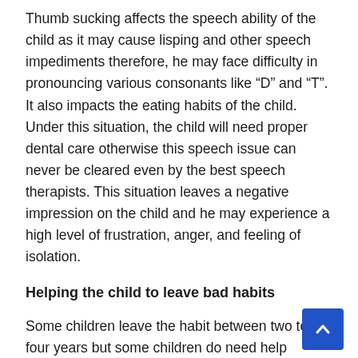Thumb sucking affects the speech ability of the child as it may cause lisping and other speech impediments therefore, he may face difficulty in pronouncing various consonants like “D” and “T”. It also impacts the eating habits of the child. Under this situation, the child will need proper dental care otherwise this speech issue can never be cleared even by the best speech therapists. This situation leaves a negative impression on the child and he may experience a high level of frustration, anger, and feeling of isolation.
Helping the child to leave bad habits
Some children leave the habit between two to four years but some children do need help leaving this habit however, for some children